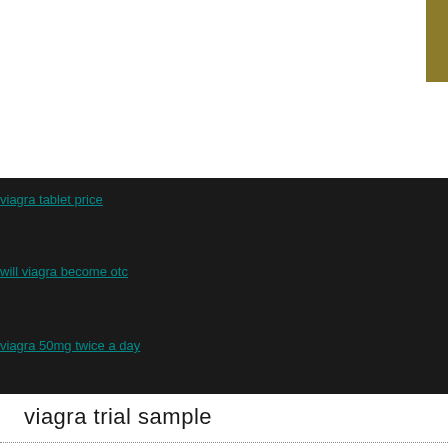[Figure (other): Gold/olive colored vertical bar element in top-right corner of white area]
viagra tablet price
will viagra become otc
viagra 50mg twice a day
viagra trial sample